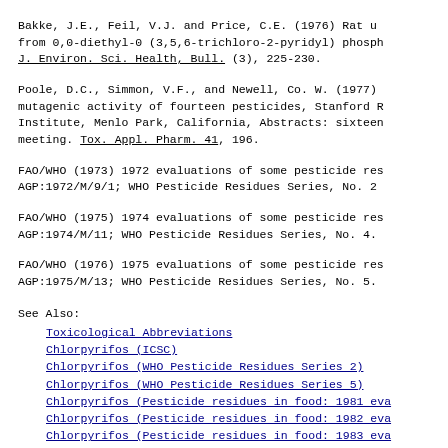Bakke, J.E., Feil, V.J. and Price, C.E. (1976) Rat urinary metabolites from 0,0-diethyl-0 (3,5,6-trichloro-2-pyridyl) phosphorothioate. J. Environ. Sci. Health, Bull. (3), 225-230.
Poole, D.C., Simmon, V.F., and Newell, Co. W. (1977) Mutagenic activity of fourteen pesticides, Stanford Research Institute, Menlo Park, California, Abstracts: sixteen meeting. Tox. Appl. Pharm. 41, 196.
FAO/WHO (1973) 1972 evaluations of some pesticide residues in food. AGP:1972/M/9/1; WHO Pesticide Residues Series, No. 2.
FAO/WHO (1975) 1974 evaluations of some pesticide residues in food. AGP:1974/M/11; WHO Pesticide Residues Series, No. 4.
FAO/WHO (1976) 1975 evaluations of some pesticide residues in food. AGP:1975/M/13; WHO Pesticide Residues Series, No. 5.
See Also:
Toxicological Abbreviations
Chlorpyrifos (ICSC)
Chlorpyrifos (WHO Pesticide Residues Series 2)
Chlorpyrifos (WHO Pesticide Residues Series 5)
Chlorpyrifos (Pesticide residues in food: 1981 evaluations)
Chlorpyrifos (Pesticide residues in food: 1982 evaluations)
Chlorpyrifos (Pesticide residues in food: 1983 evaluations)
Chlorpyrifos (JMPR Evaluations 1999 Part II Toxicological)